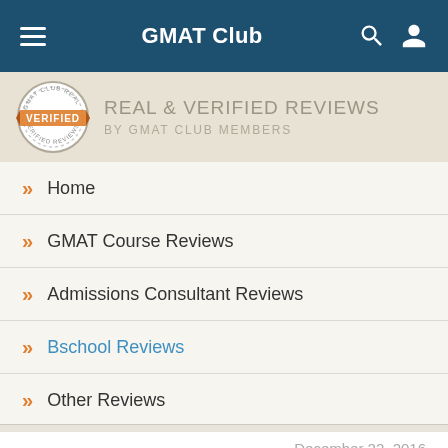GMAT Club
[Figure (logo): Real & Verified Reviews badge with VERIFIED stamp, orange ribbon, circular seal]
REAL & VERIFIED REVIEWS BY GMAT CLUB MEMBERS
Home
GMAT Course Reviews
Admissions Consultant Reviews
Bschool Reviews
Other Reviews
All Reviews > LBS > Review Comments
December 22, 2016
niddy